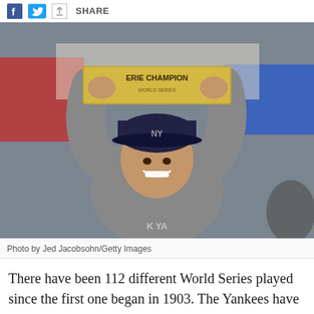SHARE
[Figure (photo): A smiling baseball player wearing a New York Yankees cap and grey jersey holds up a World Series Champions trophy above his head. Background shows blurred stadium signage including red and blue banners.]
Photo by Jed Jacobsohn/Getty Images
There have been 112 different World Series played since the first one began in 1903. The Yankees have